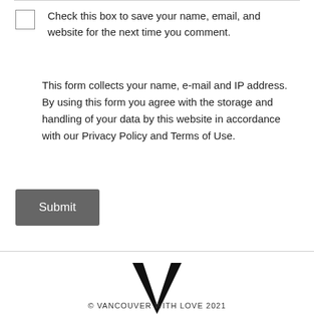Check this box to save your name, email, and website for the next time you comment.
This form collects your name, e-mail and IP address. By using this form you agree with the storage and handling of your data by this website in accordance with our Privacy Policy and Terms of Use.
Submit
[Figure (logo): Large bold letter V logo]
© VANCOUVER WITH LOVE 2021